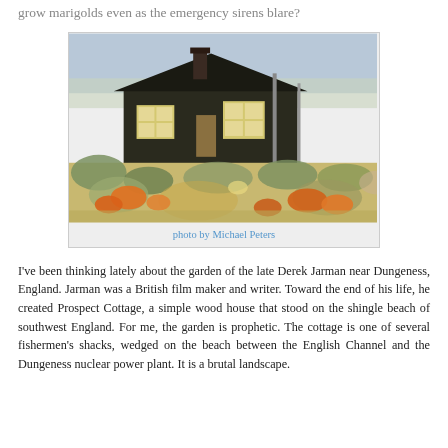grow marigolds even as the emergency sirens blare?
[Figure (photo): Photo of Prospect Cottage, a dark wood house with yellow-framed windows on a shingle beach, surrounded by a wild garden with orange marigolds and other flowering plants at Dungeness, England.]
photo by Michael Peters
I've been thinking lately about the garden of the late Derek Jarman near Dungeness, England. Jarman was a British film maker and writer. Toward the end of his life, he created Prospect Cottage, a simple wood house that stood on the shingle beach of southwest England. For me, the garden is prophetic. The cottage is one of several fishermen's shacks, wedged on the beach between the English Channel and the Dungeness nuclear power plant. It is a brutal landscape.